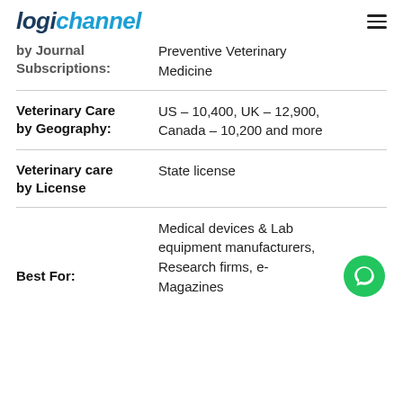logichannel
by Journal Subscriptions: Preventive Veterinary Medicine
Veterinary Care by Geography: US – 10,400, UK – 12,900, Canada – 10,200 and more
Veterinary care by License: State license
Best For: Medical devices & Lab equipment manufacturers, Research firms, e-Magazines